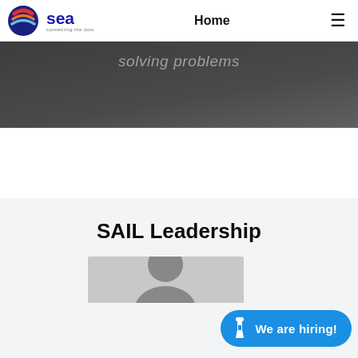sea  Home  ☰
[Figure (screenshot): Dark grey banner with italic text 'solving problems' in faded white]
SAIL Leadership
[Figure (photo): Person's head/shoulders photo, partially visible at bottom of page]
[Figure (other): Blue 'We are hiring!' button with tie icon in bottom-right corner]